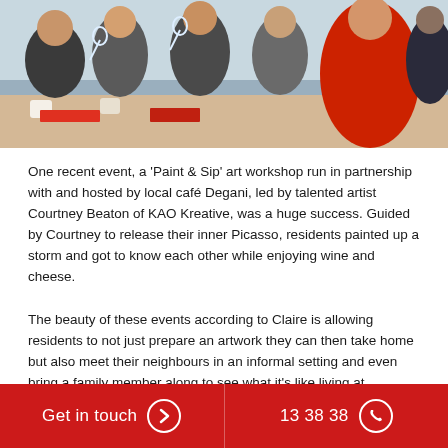[Figure (photo): Group of people at a Paint & Sip art workshop, holding wine glasses and socializing around a table in a café setting. A person in a red top is visible on the right.]
One recent event, a 'Paint & Sip' art workshop run in partnership with and hosted by local café Degani, led by talented artist Courtney Beaton of KAO Kreative, was a huge success. Guided by Courtney to release their inner Picasso, residents painted up a storm and got to know each other while enjoying wine and cheese.
The beauty of these events according to Claire is allowing residents to not just prepare an artwork they can then take home but also meet their neighbours in an informal setting and even bring a family member along to see what it's like living at Ed.Square.
Get in touch   13 38 38